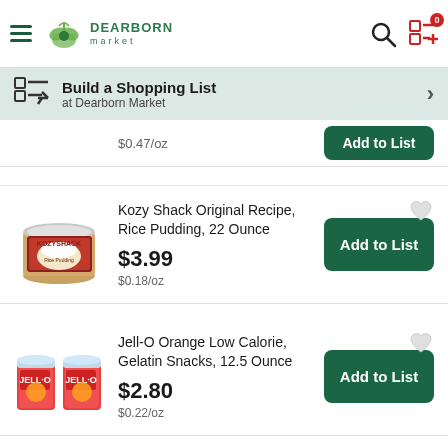Dearborn Market
Build a Shopping List at Dearborn Market
$0.47/oz
Kozy Shack Original Recipe, Rice Pudding, 22 Ounce
$3.99
$0.18/oz
Jell-O Orange Low Calorie, Gelatin Snacks, 12.5 Ounce
$2.80
$0.22/oz